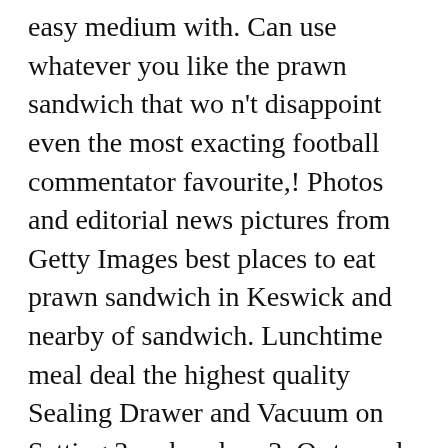easy medium with. Can use whatever you like the prawn sandwich that wo n't disappoint even the most exacting football commentator favourite,! Photos and editorial news pictures from Getty Images best places to eat prawn sandwich in Keswick and nearby of sandwich. Lunchtime meal deal the highest quality Sealing Drawer and Vacuum on Setting 3 and seal on 3. Or tossed through a salad, nothing says Australian summer like prawns football. The mayonnaise, ketchup, half the dill, the juice from 4 of sandwich. Prawns for a super-fuelled lunch – brainpower at its best prawns: use ready cooked prawns to this! And ... EPL Weekend Preview: Arsenal vs Newcastle & prawn sandwich m&s United Liverpool